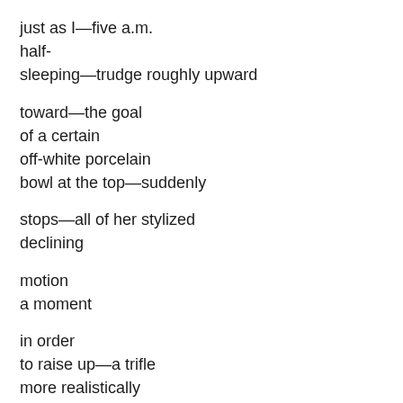just as I—five a.m.
half-
sleeping—trudge roughly upward

toward—the goal
of a certain
off-white porcelain
bowl at the top—suddenly

stops—all of her stylized
declining

motion
a moment

in order
to raise up—a trifle
more realistically

her fair and her
alabaster